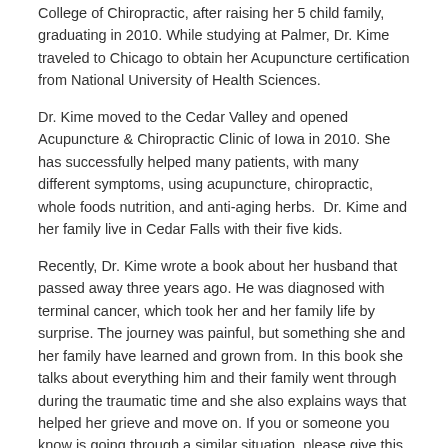College of Chiropractic, after raising her 5 child family, graduating in 2010. While studying at Palmer, Dr. Kime traveled to Chicago to obtain her Acupuncture certification from National University of Health Sciences.
Dr. Kime moved to the Cedar Valley and opened Acupuncture & Chiropractic Clinic of Iowa in 2010. She has successfully helped many patients, with many different symptoms, using acupuncture, chiropractic, whole foods nutrition, and anti-aging herbs.  Dr. Kime and her family live in Cedar Falls with their five kids.
Recently, Dr. Kime wrote a book about her husband that passed away three years ago. He was diagnosed with terminal cancer, which took her and her family life by surprise. The journey was painful, but something she and her family have learned and grown from. In this book she talks about everything him and their family went through during the traumatic time and she also explains ways that helped her grieve and move on. If you or someone you know is going through a similar situation, please give this book a read and share it with others.
Follow this link that will direct you to the book on Amazon.